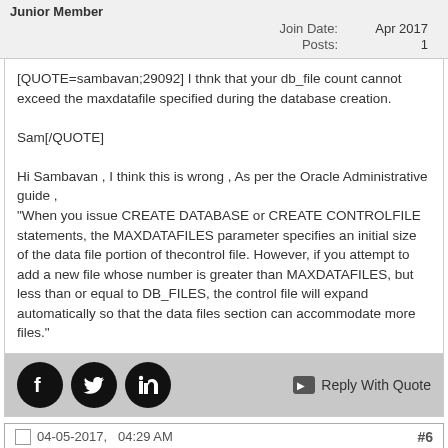Junior Member
Join Date: Apr 2017
Posts: 1
[QUOTE=sambavan;29092] I thnk that your db_file count cannot exceed the maxdatafile specified during the database creation.

Sam[/QUOTE]

Hi Sambavan , I think this is wrong , As per the Oracle Administrative guide ,
"When you issue CREATE DATABASE or CREATE CONTROLFILE statements, the MAXDATAFILES parameter specifies an initial size of the data file portion of thecontrol file. However, if you attempt to add a new file whose number is greater than MAXDATAFILES, but less than or equal to DB_FILES, the control file will expand automatically so that the data files section can accommodate more files."
[Figure (illustration): Social media sharing icons: Facebook, Twitter, LinkedIn (black circles) and Reply With Quote button]
04-05-2017,   04:29 AM  #6
Steve R Jones (online indicator)